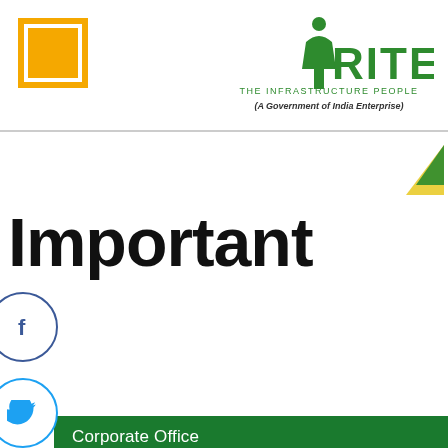[Figure (logo): RITES logo - The Infrastructure People (A Government of India Enterprise) with green branding and stylized person icon]
Important
[Figure (logo): Facebook circular icon]
[Figure (logo): Twitter circular icon]
[Figure (logo): LinkedIn circular icon]
[Figure (logo): Instagram circular icon]
[Figure (logo): YouTube circular icon]
Corporate Office
India
Abroad
Important Telephones